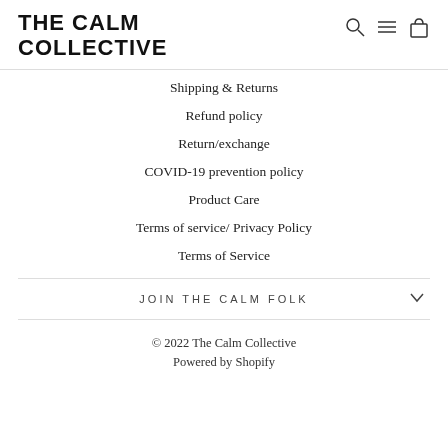THE CALM COLLECTIVE
Shipping & Returns
Refund policy
Return/exchange
COVID-19 prevention policy
Product Care
Terms of service/ Privacy Policy
Terms of Service
JOIN THE CALM FOLK
© 2022 The Calm Collective
Powered by Shopify